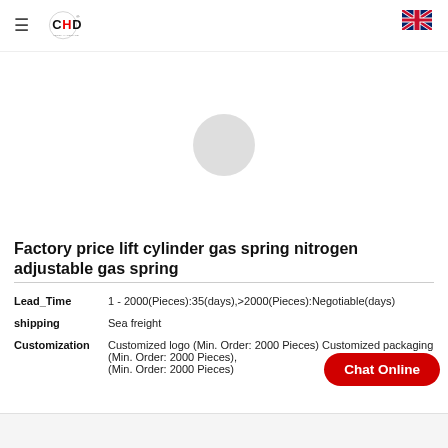[Figure (logo): CHD hardware company logo with hamburger menu icon on left and UK flag on right]
[Figure (photo): Product image loading placeholder - grey circle loading indicator on white background]
Factory price lift cylinder gas spring nitrogen adjustable gas spring
| Lead_Time | 1 - 2000(Pieces):35(days),>2000(Pieces):Negotiable(days) |
| shipping | Sea freight |
| Customization | Customized logo (Min. Order: 2000 Pieces) Customized packaging (Min. Order: 2000 Pieces), (Min. Order: 2000 Pieces) |
Chat Online